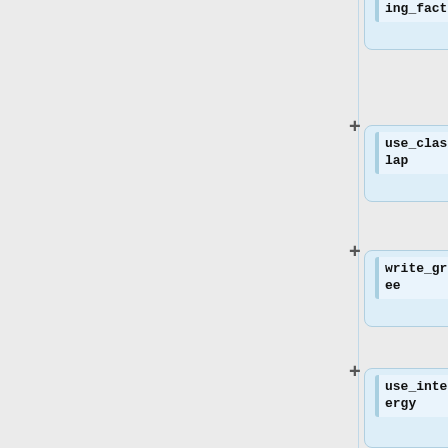[Figure (flowchart): Vertical flowchart/tree showing parameter nodes with names and values: ing_factor=1.0, use_clash_overlap=no, write_growth_tree=no, use_internal_energy=yes, internal_energy_rep_exp=12]
ing_factor
1.0
use_clash_overlap
no
write_growth_tree
no
use_internal_energy
yes
internal_energy_rep_exp
12